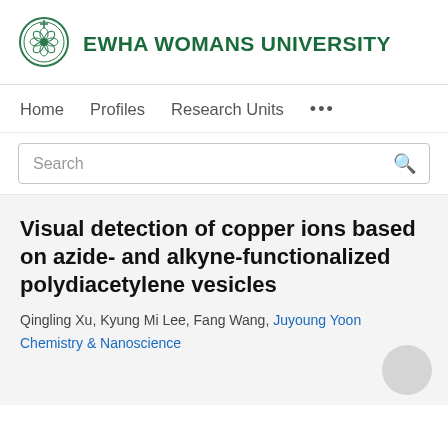[Figure (logo): Ewha Womans University circular logo in green with decorative design]
EWHA WOMANS UNIVERSITY
Home    Profiles    Research Units    ...
Search
Visual detection of copper ions based on azide- and alkyne-functionalized polydiacetylene vesicles
Qingling Xu, Kyung Mi Lee, Fang Wang, Juyoung Yoon
Chemistry & Nanoscience